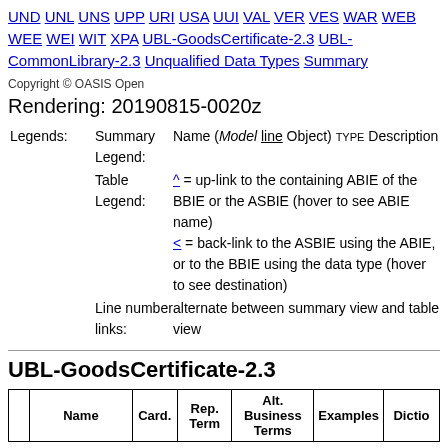UND UNL UNS UPP URI USA UUI VAL VER VES WAR WEB WEE WEI WIT XPA UBL-GoodsCertificate-2.3 UBL-CommonLibrary-2.3 Unqualified Data Types Summary
Copyright © OASIS Open
Rendering: 20190815-0020z
Legends: Summary Legend: Name (Model line Object) TYPE Description
Table Legend: ^ = up-link to the containing ABIE of the BBIE or the ASBIE (hover to see ABIE name)
< = back-link to the ASBIE using the ABIE, or to the BBIE using the data type (hover to see destination)
Line number links: alternate between summary view and table view
UBL-GoodsCertificate-2.3
|  | Name | Card. | Rep. Term | Alt. Business Terms | Examples | Dictio... |
| --- | --- | --- | --- | --- | --- | --- |